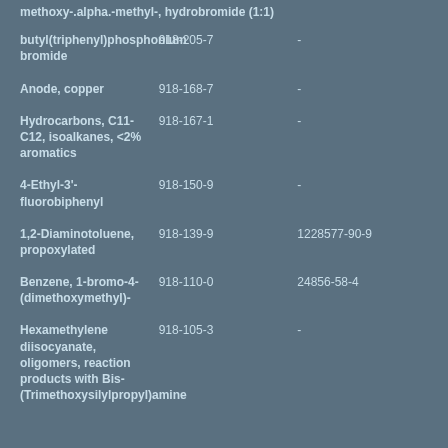| methoxy-.alpha.-methyl-, hydrobromide (1:1) |  |  |
| butyl(triphenyl)phosphonium bromide | 918-205-7 | - |
| Anode, copper | 918-168-7 | - |
| Hydrocarbons, C11-C12, isoalkanes, <2% aromatics | 918-167-1 | - |
| 4-Ethyl-3'-fluorobiphenyl | 918-150-9 | - |
| 1,2-Diaminotoluene, propoxylated | 918-139-9 | 1228577-90-9 |
| Benzene, 1-bromo-4-(dimethoxymethyl)- | 918-110-0 | 24856-58-4 |
| Hexamethylene diisocyanate, oligomers, reaction products with Bis-(Trimethoxysilylpropyl)amine | 918-105-3 | - |